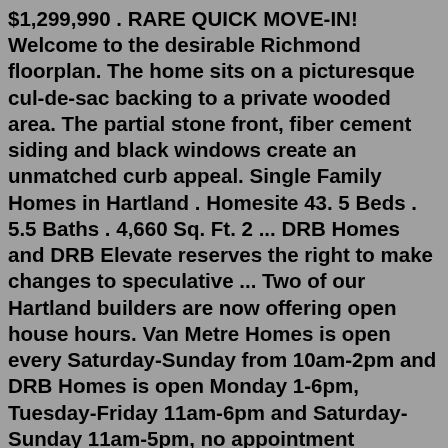$1,299,990 . RARE QUICK MOVE-IN! Welcome to the desirable Richmond floorplan. The home sits on a picturesque cul-de-sac backing to a private wooded area. The partial stone front, fiber cement siding and black windows create an unmatched curb appeal. Single Family Homes in Hartland . Homesite 43. 5 Beds . 5.5 Baths . 4,660 Sq. Ft. 2 ... DRB Homes and DRB Elevate reserves the right to make changes to speculative ... Two of our Hartland builders are now offering open house hours. Van Metre Homes is open every Saturday-Sunday from 10am-2pm and DRB Homes is open Monday 1-6pm, Tuesday-Friday 11am-6pm and Saturday-Sunday 11am-5pm, no appointment necessary! https://ourhartland.com/visit/ #OurHartland #VanMetre #DRBHomes 7w June 24 Log in to like or comment.14012 Heartland Dr , Manor, TX 78653 is a single-family home listed for rent at /mo. The 2,011 sq. ft. home is a 4 bed, 3.0 bath property. View more property details, sales history and Zestimate data on Zillow.14012 Heartland Dr , Manor, TX 78653 is a single-family home listed for